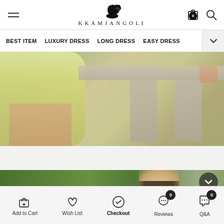KKAMJANGOLI — navigation header with hamburger menu, logo, cart and search icons
[Figure (screenshot): Navigation menu bar with items: BEST ITEM, LUXURY DRESS, LONG DRESS, EASY DRESS, and more arrow]
[Figure (photo): Fashion photo showing woman in yellow/lime green short dress standing near a wooden table/bench outdoors]
[Figure (photo): Fashion photo showing woman with dark hair smiling outdoors in front of green foliage]
Add to Cart | Wish List | Checkout | Reviews (0) | Q&A (0)